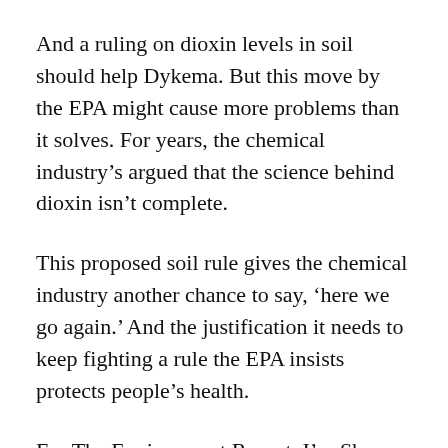And a ruling on dioxin levels in soil should help Dykema. But this move by the EPA might cause more problems than it solves. For years, the chemical industry’s argued that the science behind dioxin isn’t complete.
This proposed soil rule gives the chemical industry another chance to say, ‘here we go again.’ And the justification it needs to keep fighting a rule the EPA insists protects people’s health.
For The Environment Report, I’m Shawn Allee.
Related Links